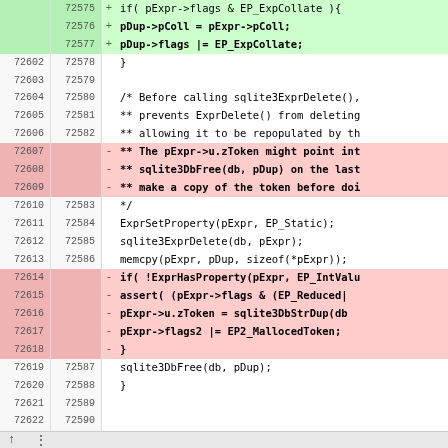[Figure (screenshot): Code diff view showing source code changes in a C file, with line numbers for old and new versions, added lines highlighted in green and removed lines highlighted in red/pink. The code relates to SQLite expression handling functions including pExpr, pDup, ExprSetProperty, sqlite3ExprDelete, memcpy, and sqlite3DbFree operations.]